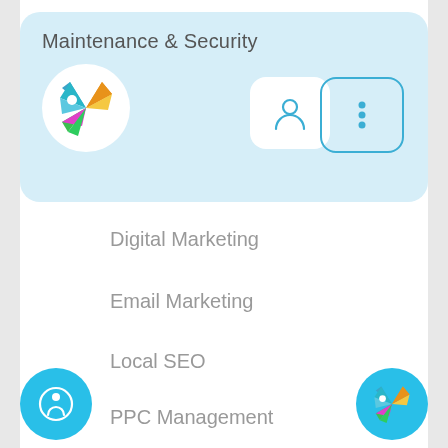Maintenance & Security
[Figure (logo): Colorful origami bird logo in a white circle]
[Figure (illustration): User/account icon button (rounded white square)]
[Figure (illustration): More options button with three dots in teal rounded square outline]
Digital Marketing
Email Marketing
Local SEO
PPC Management
Search Engine Optimization
Social Media Management
[Figure (illustration): Accessibility icon button (circular blue FAB, wheelchair symbol)]
[Figure (logo): Colorful origami bird logo on circular blue FAB button]